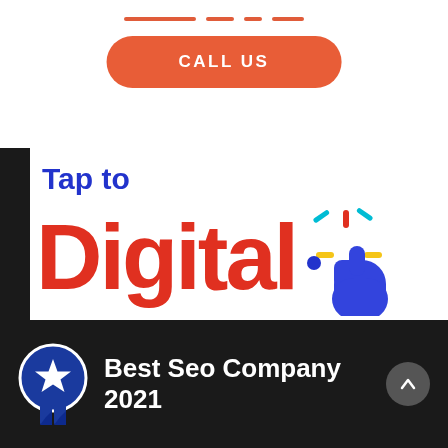[Figure (infographic): Orange decorative dashes/lines row at top]
[Figure (infographic): Orange rounded rectangle call-to-action button with text CALL US]
[Figure (logo): Tap to Digital logo — 'Tap to' in blue bold text, 'Digital' in large red bold text, with a stylized blue cursor/pointer icon with red and cyan accent lines and yellow dashes]
[Figure (infographic): Dark footer bar with a blue award badge (star and ribbon) on the left, text 'Best Seo Company 2021' in white bold, and a dark circular up-arrow button on the right]